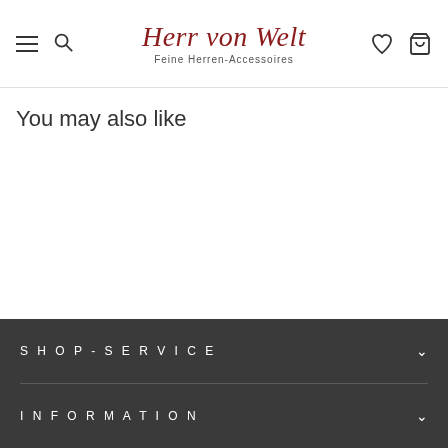Herr von Welt — Feine Herren-Accessoires
You may also like
SHOP-SERVICE
INFORMATION